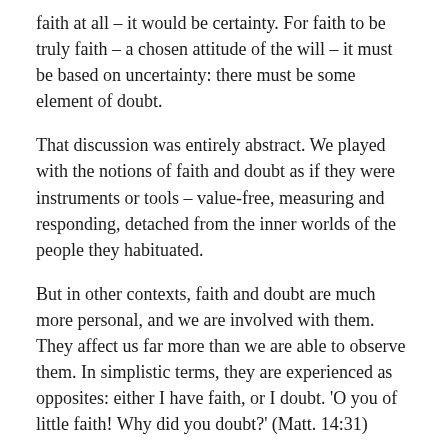faith at all – it would be certainty. For faith to be truly faith – a chosen attitude of the will – it must be based on uncertainty: there must be some element of doubt.
That discussion was entirely abstract. We played with the notions of faith and doubt as if they were instruments or tools – value-free, measuring and responding, detached from the inner worlds of the people they habituated.
But in other contexts, faith and doubt are much more personal, and we are involved with them. They affect us far more than we are able to observe them. In simplistic terms, they are experienced as opposites: either I have faith, or I doubt. 'O you of little faith! Why did you doubt?' (Matt. 14:31)
Faith can be thought of as enlightening; doubt as darkness. Faith is a way of expressing what we can see…